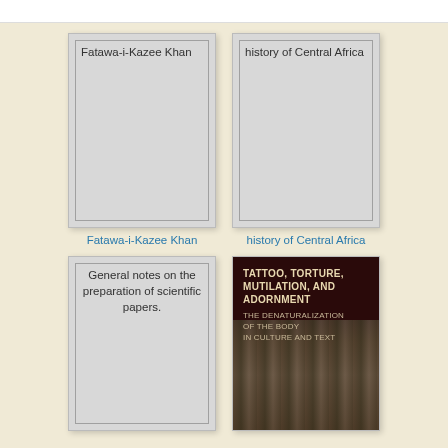[Figure (illustration): Book cover placeholder for Fatawa-i-Kazee Khan — grey cover with title text]
Fatawa-i-Kazee Khan
[Figure (illustration): Book cover placeholder for history of Central Africa — grey cover with title text]
history of Central Africa
[Figure (illustration): Book cover placeholder for General notes on the preparation of scientific papers — grey cover with title text]
[Figure (photo): Book cover for Tattoo, Torture, Mutilation, and Adornment: The Denaturalization of the Body in Culture and Text — dark maroon cover with title text and a black and white photograph of a group of people]